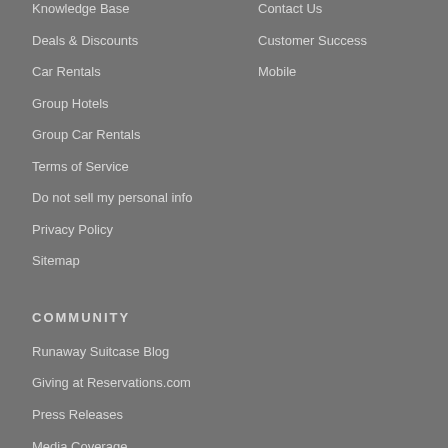Knowledge Base
Deals & Discounts
Car Rentals
Group Hotels
Group Car Rentals
Terms of Service
Do not sell my personal info
Privacy Policy
Sitemap
Contact Us
Customer Success
Mobile
COMMUNITY
Runaway Suitcase Blog
Giving at Reservations.com
Press Releases
Media Coverage
Featured Videos
Partnerships